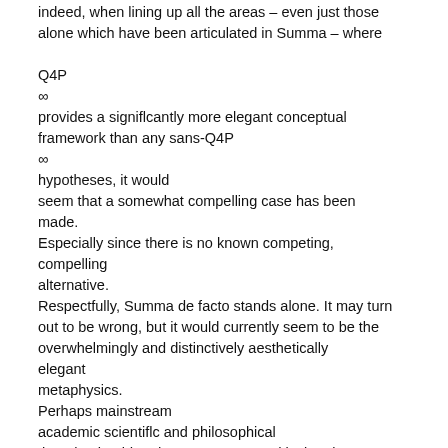indeed, when lining up all the areas – even just those alone which have been articulated in Summa – where Q4P∞ provides a significantly more elegant conceptual framework than any sans-Q4P∞ hypotheses, it would seem that a somewhat compelling case has been made. Especially since there is no known competing, compelling alternative. Respectfully, Summa de facto stands alone. It may turn out to be wrong, but it would currently seem to be the overwhelmingly and distinctively aesthetically elegant metaphysics. Perhaps mainstream academic scientific and philosophical thought should endeavor to transcend its inertia. Perhaps academia will now undergo its own Punctuated Equilibrium…and go with a winning new paradigm ☺ as its working hypothesis, as opposed to its current